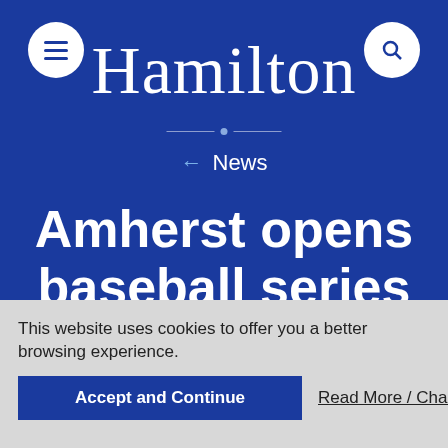Hamilton
← News
Amherst opens baseball series with 5-3 win
April 13, 2015
Athletics
This website uses cookies to offer you a better browsing experience.
Accept and Continue
Read More / Change Settings